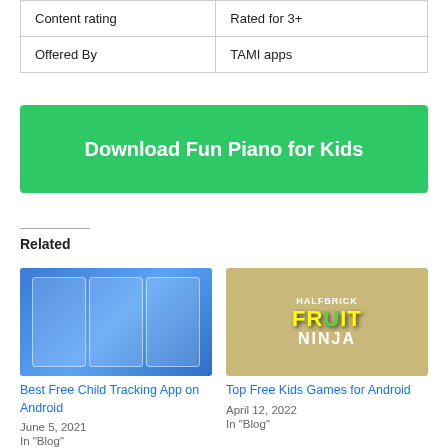| Content rating | Rated for 3+ |
| Offered By | TAMI apps |
[Figure (other): Green download button with text 'Download Fun Piano for Kids']
Related
[Figure (photo): Screenshot of child tracking app showing three phone screens with map/location features]
Best Free Child Tracking App on Android
June 5, 2021
In "Blog"
[Figure (photo): Fruit Ninja game screenshot with HALFBRICK logo and colorful title]
Top Free Kids Games for Android
April 12, 2022
In "Blog"